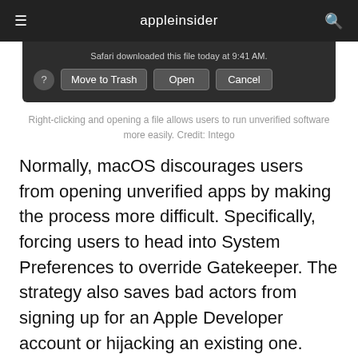appleinsider
[Figure (screenshot): macOS dialog box with dark background showing 'Safari downloaded this file today at 9:41 AM.' and buttons: Move to Trash, Open, Cancel, with a help (?) button on the left.]
Right-clicking and opening a file allows users to run unverified software more easily. Credit: Intego
Normally, macOS discourages users from opening unverified apps by making the process more difficult. Specifically, forcing users to head into System Preferences to override Gatekeeper. The strategy also saves bad actors from signing up for an Apple Developer account or hijacking an existing one.
Once users actually open the installer app, it runs